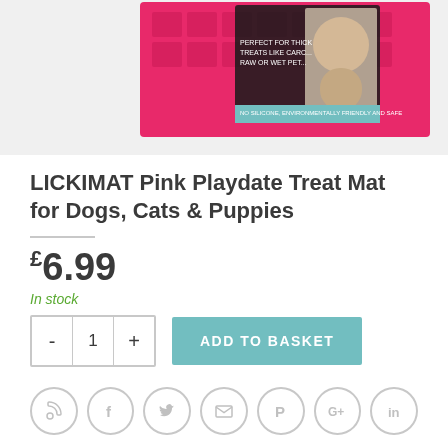[Figure (photo): Product image of LICKIMAT Pink Playdate Treat Mat — a pink silicone mat with grid pattern, shown with its packaging featuring a dog and product descriptions]
LICKIMAT Pink Playdate Treat Mat for Dogs, Cats & Puppies
£6.99
In stock
- 1 + ADD TO BASKET